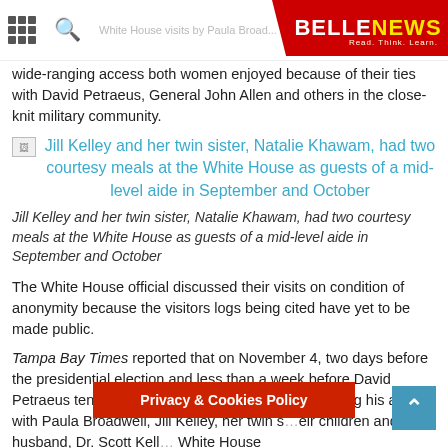BELLENEWS — Read. Think. Learn.
wide-ranging access both women enjoyed because of their ties with David Petraeus, General John Allen and others in the close-knit military community.
[Figure (other): Broken image icon with linked caption text in blue: Jill Kelley and her twin sister, Natalie Khawam, had two courtesy meals at the White House as guests of a mid-level aide in September and October]
Jill Kelley and her twin sister, Natalie Khawam, had two courtesy meals at the White House as guests of a mid-level aide in September and October
The White House official discussed their visits on condition of anonymity because the visitors logs being cited have yet to be made public.
Tampa Bay Times reported that on November 4, two days before the presidential election and less than a week before David Petraeus tendered his resignation after acknowledging his affair with Paula Broadwell, Jill Kelley, her twin s... eir children and her husband, Dr. Scott Kell... White House